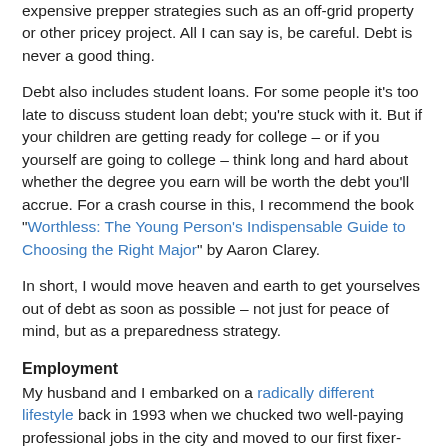expensive prepper strategies such as an off-grid property or other pricey project. All I can say is, be careful. Debt is never a good thing.
Debt also includes student loans. For some people it's too late to discuss student loan debt; you're stuck with it. But if your children are getting ready for college – or if you yourself are going to college – think long and hard about whether the degree you earn will be worth the debt you'll accrue. For a crash course in this, I recommend the book "Worthless: The Young Person's Indispensable Guide to Choosing the Right Major" by Aaron Clarey.
In short, I would move heaven and earth to get yourselves out of debt as soon as possible – not just for peace of mind, but as a preparedness strategy.
Employment
My husband and I embarked on a radically different lifestyle back in 1993 when we chucked two well-paying professional jobs in the city and moved to our first fixer-upper in the country (our story is told here). Our income went from a